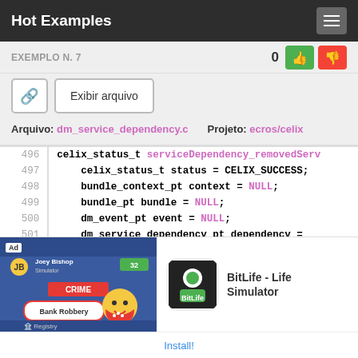Hot Examples
EXEMPLO N. 7
Arquivo: dm_service_dependency.c   Projeto: ecros/celix
[Figure (screenshot): Code viewer showing lines 496-503 of dm_service_dependency.c with syntax highlighting. Line 496: celix_status_t serviceDependency_removedSer... Line 497: celix_status_t status = CELIX_SUCCESS; Line 498: bundle_context_pt context = NULL; Line 499: bundle_pt bundle = NULL; Line 500: dm_event_pt event = NULL; Line 501: dm_service_dependency_pt dependency = _... Line 502: (blank) Line 503: if (!dependency || !reference || !servi...]
[Figure (screenshot): Ad banner for BitLife - Life Simulator app showing game screenshot and Install button]